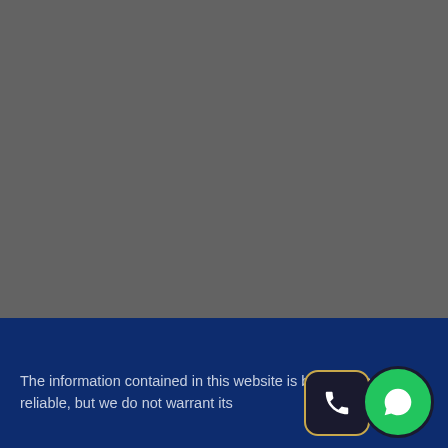[Figure (photo): Large gray/dark area occupying the upper portion of the page, likely a blurred or faded background image]
The information contained in this website is believed to be reliable, but we do not warrant its
[Figure (other): Phone icon button - dark rounded square with gold border containing a white phone handset icon]
[Figure (other): Chat icon button - green circle with dark border containing a white chat bubble icon]